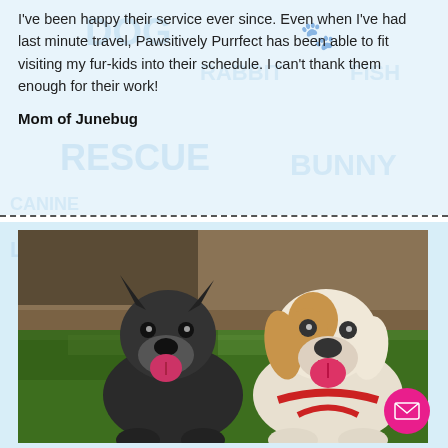Purrfect was recommended to me by a veterinary colleague and I've been happy their service ever since. Even when I've had last minute travel, Pawsitively Purrfect has been able to fit visiting my fur-kids into their schedule. I can't thank them enough for their work!
Mom of Junebug
[Figure (photo): Two dogs sitting on grass — a black/grey dog on the left and a white and tan dog on the right, both with mouths open and tongues out, appearing happy. Background shows grass and a shaded dirt area.]